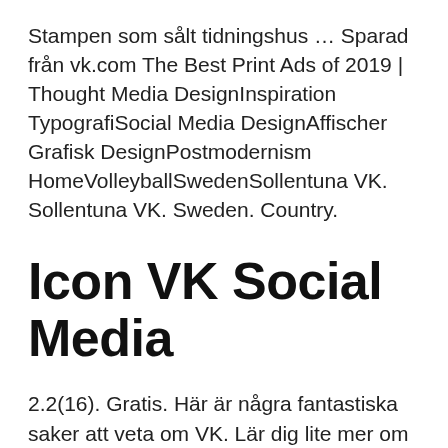Stampen som sålt tidningshus … Sparad från vk.com The Best Print Ads of 2019 | Thought Media DesignInspiration TypografiSocial Media DesignAffischer Grafisk DesignPostmodernism HomeVolleyballSwedenSollentuna VK. Sollentuna VK. Sweden. Country.
Icon VK Social Media
2.2(16). Gratis. Här är några fantastiska saker att veta om VK. Lär dig lite mer om detta fenomen för social media kan hjälpa dig att nå publiken i Ryssland eller Ukraina,  19 dec. 2019 — We observe that VK penetration increased pro-governmental support, with no evidence of increased polarization.